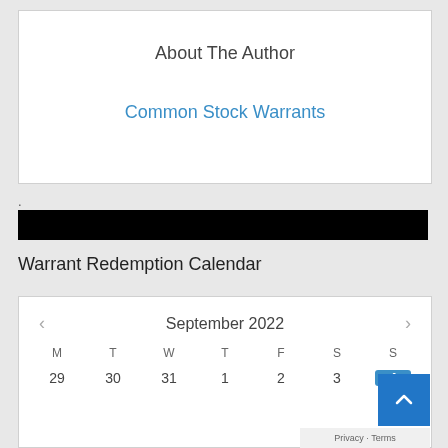About The Author
Common Stock Warrants
.
[Figure (other): Black redaction bar]
Warrant Redemption Calendar
[Figure (other): Calendar widget showing September 2022 with days M T W T F S S and dates 29 30 31 1 2 3 4 (4 highlighted in blue)]